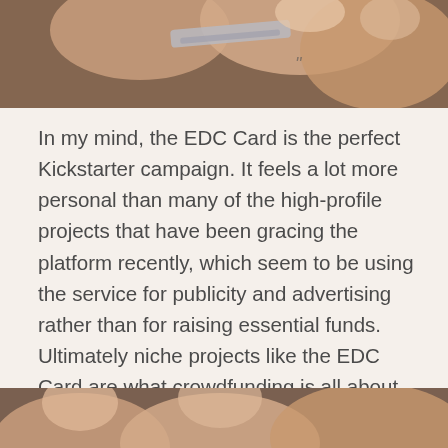[Figure (photo): Close-up photo of a hand holding a small flat card or tool, partial view cropped at top of page]
In my mind, the EDC Card is the perfect Kickstarter campaign. It feels a lot more personal than many of the high-profile projects that have been gracing the platform recently, which seem to be using the service for publicity and advertising rather than for raising essential funds. Ultimately niche projects like the EDC Card are what crowdfunding is all about and I hope to see more of them.
[Figure (photo): Partial photo of a hand holding something, cropped at bottom of page]